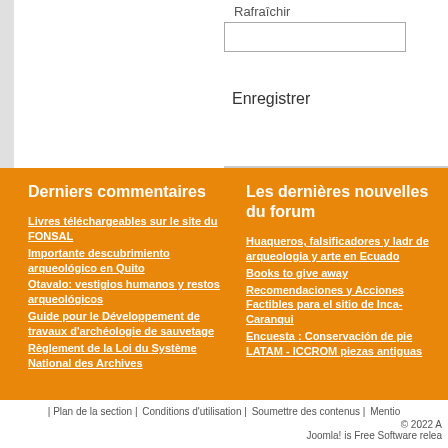Rafraîchir
Enregistrer
Derniers commentaires
Livres téléchargeables sur le site du FONSAL
Importante descubrimiento arqueológico en Quito
Otavalo: vestigios humanos y restos arqueológicos
Guide pour le Développement de travaux d'archéologie de sauvetage
Règlement de la Loi du Système National des Archives
Les dernières nouvelles du forum
Huaqueros, falsificadores y lad de arqueologia y arte en Ecuado
Books to give away
Recomendaciones y Acciones Factibles para el sitio de Inca-Caranqui
Encuesta : Conservación de pie LATAM - ICCROM piezas antiguas
| Plan de la section | Conditions d'utilisation | Soumettre des contenus | Mentio
© 2022 A Joomla! is Free Software relea